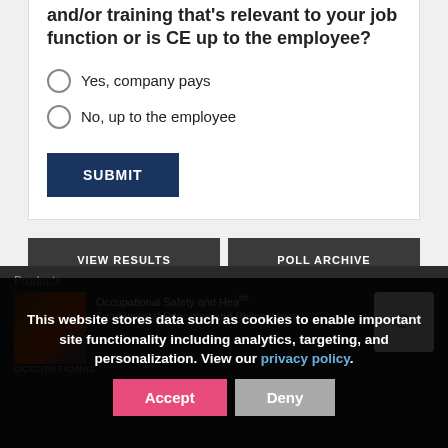and/or training that's relevant to your job function or is CE up to the employee?
Yes, company pays
No, up to the employee
SUBMIT
VIEW RESULTS
POLL ARCHIVE
Products
This website stores data such as cookies to enable important site functionality including analytics, targeting, and personalization. View our privacy policy.
Accept
Deny
Occupational Safety and Health Fundamental Principles and Philosophies
OCCUPATIONAL